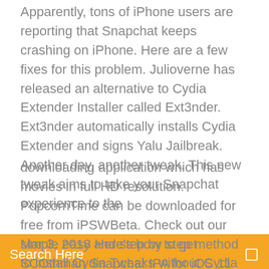Apparently, tons of iPhone users are reporting that Snapchat keeps crashing on iPhone. Here are a few fixes for this problem. Julioverne has released an alternative to Cydia Extender Installer called Ext3nder. Ext3nder automatically installs Cydia Extender and signs Yalu Jailbreak. Another day, another tweak. This new tweak aims to take your Snapchat experience to the
[Figure (other): Search bar with orange/yellow background and white text reading 'Search Here']
downloading application which has movies in full HD resolution. PopcornTime can be downloaded for free from iPSWBeta. Check out our simple easy and step by step method to install Cydia Tweaks without Cydia with Electra Toolkit. Jailbreak your device on iOS 11 - 11.1.2 and run Cydia apps and tweaks without any issues using this guide.
Mar 3, 2018 Here's how to get SCOthman Snapchat IPA for iOS 11 tweak download on your iPhone. No jailbreak is required for this to work. Recommended. Recommended: 8 Ball Pool HACK,